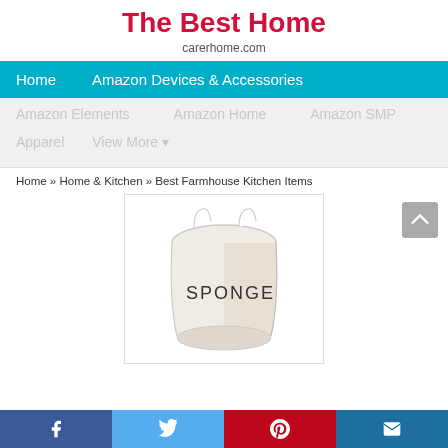The Best Home
carerhome.com
Home   Amazon Devices & Accessories
Amazon Elements   Amazon Home   Amazon SMP   Apparel   View More ▾
Home » Home & Kitchen » Best Farmhouse Kitchen Items
[Figure (photo): White ceramic sponge holder with 'SPONGE' text printed on it]
Social bar: Facebook, Twitter, Pinterest, Email